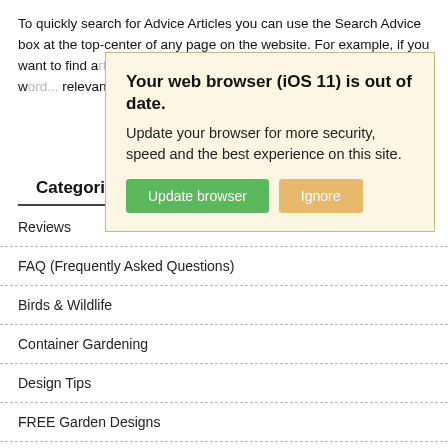To quickly search for Advice Articles you can use the Search Advice box at the top-center of any page on the website. For example, if you want to find articles dealing with planting ideas just type the w... relevant articl...
[Figure (screenshot): Browser update modal dialog with yellow background. Title: 'Your web browser (iOS 11) is out of date.' Body: 'Update your browser for more security, speed and the best experience on this site.' Two buttons: green 'Update browser' and orange 'Ignore'.]
Categories
Reviews
FAQ (Frequently Asked Questions)
Birds & Wildlife
Container Gardening
Design Tips
FREE Garden Designs